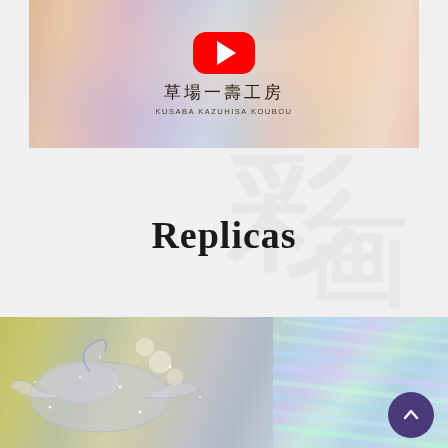[Figure (screenshot): YouTube video thumbnail with colorful iridescent background showing a YouTube play button (red rounded rectangle with white triangle) and Japanese text '草場一壽工房' with romanized subtitle 'KUSABA KAZUHISA KOUBOU']
Replicas
[Figure (photo): Close-up photo of ornate Japanese embroidery or decorative art featuring crane motif with floral elements in pastel yellow-green, lavender, white and silver sparkle textures, with iridescent rainbow shimmer on the right side. A dark purple scroll-to-top button is visible in the lower right corner.]